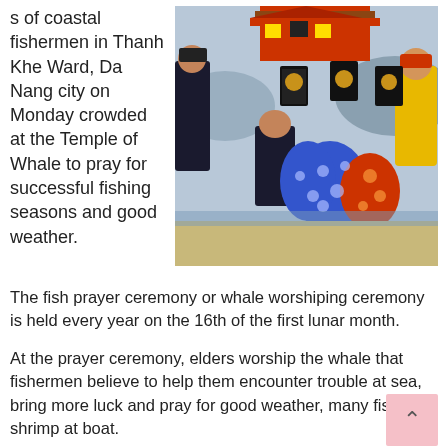[Figure (photo): Vietnamese coastal fishermen in traditional ceremonial robes and hats kneeling and performing a whale worship ceremony at a temple area on a beach. People are dressed in dark robes, colorful blue and orange dotted robes, and one in yellow. A decorated red and gold temple structure is visible in the background.]
s of coastal fishermen in Thanh Khe Ward, Da Nang city on Monday crowded at the Temple of Whale to pray for successful fishing seasons and good weather.
The fish prayer ceremony or whale worshiping ceremony is held every year on the 16th of the first lunar month.
At the prayer ceremony, elders worship the whale that fishermen believe to help them encounter trouble at sea, bring more luck and pray for good weather, many fish and shrimp at boat.